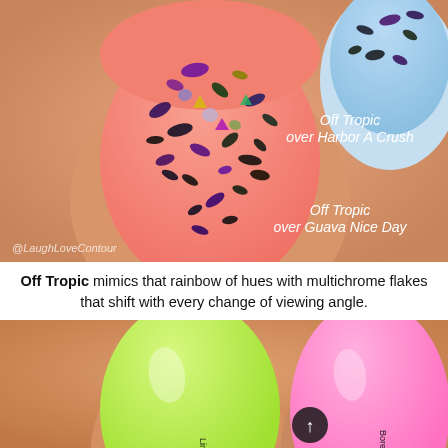[Figure (photo): Close-up macro photo of two painted fingernails. Left nail is salmon/coral pink with heavy multichrome flake glitter topper showing purple, green, gold, black flakes. Right nail (partially visible top right) is light blue with similar flake topper. Labels read 'Off Tropic over Harbor A Crush' (top right) and 'Off Tropic over Guava Nice Day' (bottom right). Watermark '@LaughLoveContour' at bottom left.]
Off Tropic mimics that rainbow of hues with multichrome flakes that shift with every change of viewing angle.
[Figure (photo): Close-up macro photo of two painted fingernails. Left nail is bright neon yellow-green/lime with text 'Lime A' visible along the nail. Right nail is bright pink/magenta. A dark circular arrow-up icon is visible on the right side. The image is cropped at the bottom.]